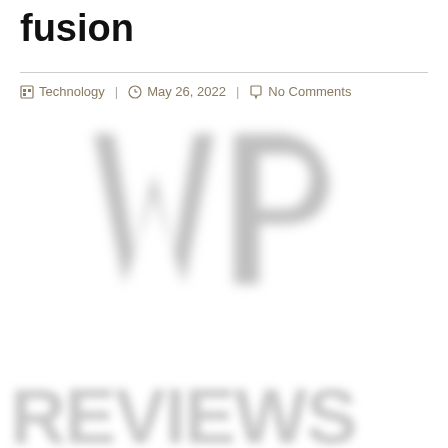fusion
Technology | May 26, 2022 | No Comments
[Figure (logo): Blurred 'WP' logo watermark in light gray]
[Figure (illustration): Partial blurred decorative text at bottom of page in gray]